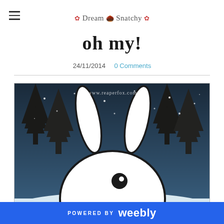Dream Snatchy (blog logo/name)
oh my!
24/11/2014  0 Comments
[Figure (illustration): A cute cartoon white bunny peeking up from the bottom of the frame, with large black-outlined long ears, one large black eye visible, set against a snowy winter night scene with dark pine/Christmas trees on either side and white snow dots scattered throughout. Text 'www.reaperfox.com' appears at the top of the image.]
POWERED BY weebly